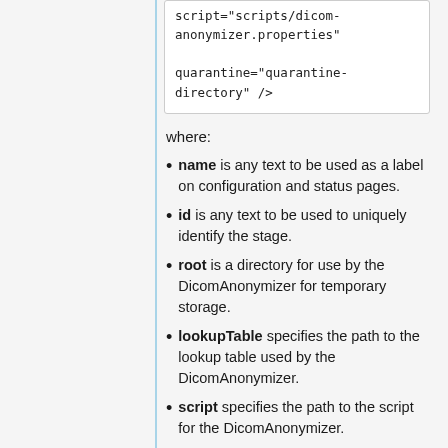script="scripts/dicom-anonymizer.properties"

quarantine="quarantine-directory" />
where:
name is any text to be used as a label on configuration and status pages.
id is any text to be used to uniquely identify the stage.
root is a directory for use by the DicomAnonymizer for temporary storage.
lookupTable specifies the path to the lookup table used by the DicomAnonymizer.
script specifies the path to the script for the DicomAnonymizer.
quarantine is a directory in which